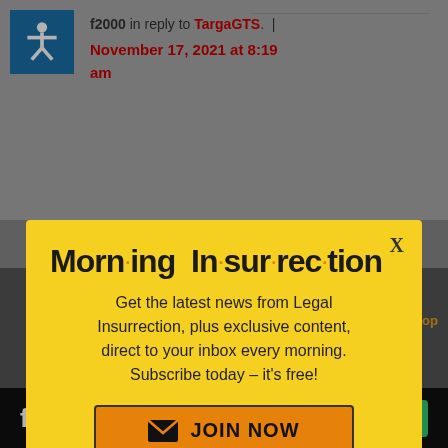f2000 in reply to TargaGTS. | November 17, 2021 at 8:19 am
[Figure (screenshot): Website screenshot showing a comment by f2000 in reply to TargaGTS dated November 17, 2021 at 8:19 am, overlaid by a yellow modal popup for Morning Insurrection newsletter subscription, and a Fiverr ad bar at the bottom.]
Morn·ing In·sur·rec·tion
Get the latest news from Legal Insurrection, plus exclusive content, direct to your inbox every morning. Subscribe today – it's free!
JOIN NOW
Finding 12 reasonable people is pretty hard in
biased main stream
fiverr  Start Now